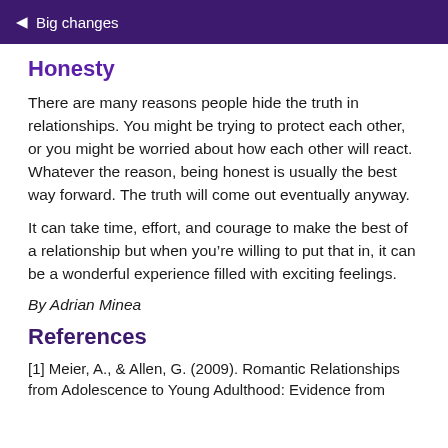Big changes
Honesty
There are many reasons people hide the truth in relationships. You might be trying to protect each other, or you might be worried about how each other will react. Whatever the reason, being honest is usually the best way forward. The truth will come out eventually anyway.
It can take time, effort, and courage to make the best of a relationship but when you’re willing to put that in, it can be a wonderful experience filled with exciting feelings.
By Adrian Minea
References
[1] Meier, A., & Allen, G. (2009). Romantic Relationships from Adolescence to Young Adulthood: Evidence from